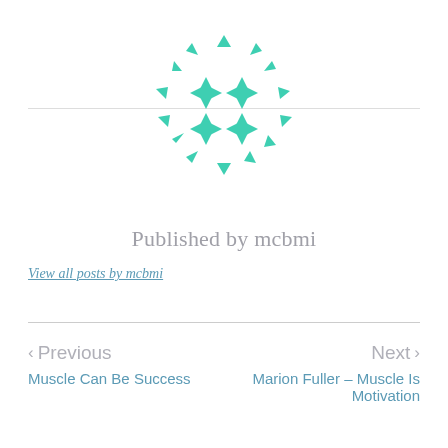[Figure (logo): Teal/turquoise geometric logo consisting of a circular arrangement of arrow-like triangles and four-pointed star shapes forming a circular emblem]
Published by mcbmi
View all posts by mcbmi
< Previous
Muscle Can Be Success
Next >
Marion Fuller – Muscle Is Motivation